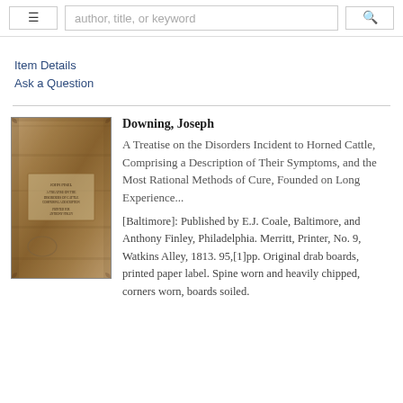≡  [search: author, title, or keyword]  🔍
Item Details
Ask a Question
[Figure (photo): Worn brown book cover with printed paper label and a circular stamp, heavily soiled and chipped at spine and corners.]
Downing, Joseph
A Treatise on the Disorders Incident to Horned Cattle, Comprising a Description of Their Symptoms, and the Most Rational Methods of Cure, Founded on Long Experience...

[Baltimore]: Published by E.J. Coale, Baltimore, and Anthony Finley, Philadelphia. Merritt, Printer, No. 9, Watkins Alley, 1813. 95,[1]pp. Original drab boards, printed paper label. Spine worn and heavily chipped, corners worn, boards soiled.